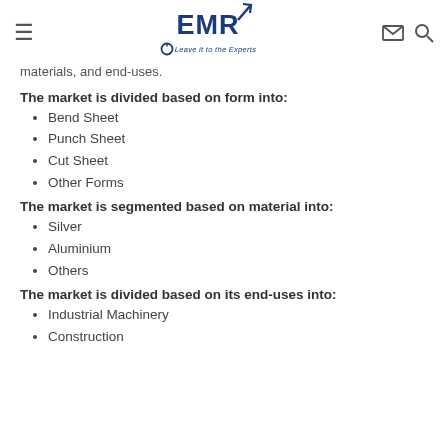EMR – Leave it to the Experts
materials, and end-uses.
The market is divided based on form into:
Bend Sheet
Punch Sheet
Cut Sheet
Other Forms
The market is segmented based on material into:
Silver
Aluminium
Others
The market is divided based on its end-uses into:
Industrial Machinery
Construction